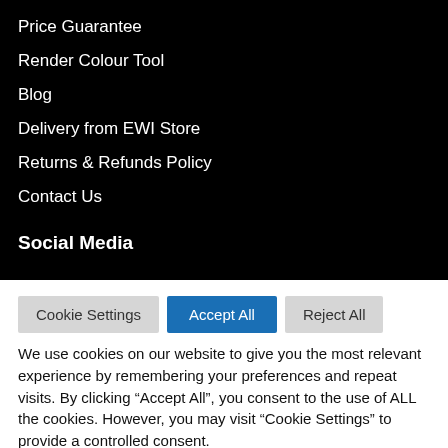Price Guarantee
Render Colour Tool
Blog
Delivery from EWI Store
Returns & Refunds Policy
Contact Us
Social Media
Cookie Settings   Accept All   Reject All
We use cookies on our website to give you the most relevant experience by remembering your preferences and repeat visits. By clicking “Accept All”, you consent to the use of ALL the cookies. However, you may visit “Cookie Settings” to provide a controlled consent.